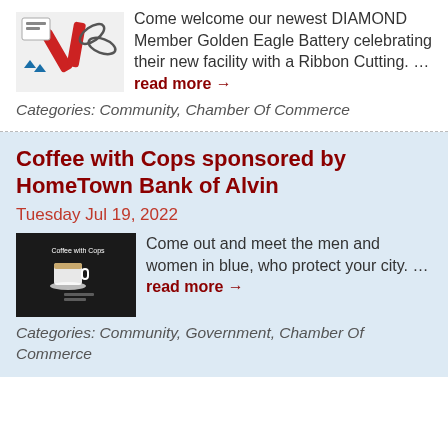Come welcome our newest DIAMOND Member Golden Eagle Battery celebrating their new facility with a Ribbon Cutting. ... read more →
Categories: Community, Chamber Of Commerce
Coffee with Cops sponsored by HomeTown Bank of Alvin
Tuesday Jul 19, 2022
Come out and meet the men and women in blue, who protect your city. ... read more →
Categories: Community, Government, Chamber Of Commerce